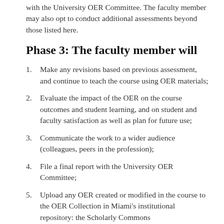with the University OER Committee. The faculty member may also opt to conduct additional assessments beyond those listed here.
Phase 3: The faculty member will
Make any revisions based on previous assessment, and continue to teach the course using OER materials;
Evaluate the impact of the OER on the course outcomes and student learning, and on student and faculty satisfaction as well as plan for future use;
Communicate the work to a wider audience (colleagues, peers in the profession);
File a final report with the University OER Committee;
Upload any OER created or modified in the course to the OER Collection in Miami's institutional repository: the Scholarly Commons